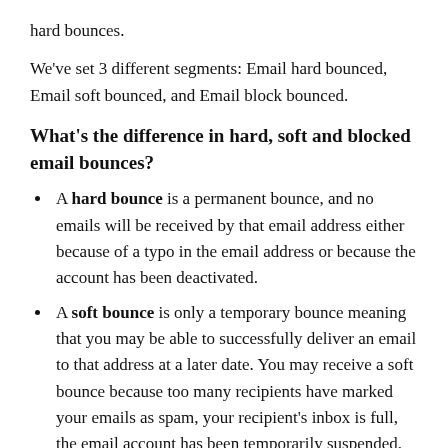hard bounces.
We've set 3 different segments: Email hard bounced, Email soft bounced, and Email block bounced.
What's the difference in hard, soft and blocked email bounces?
A hard bounce is a permanent bounce, and no emails will be received by that email address either because of a typo in the email address or because the account has been deactivated.
A soft bounce is only a temporary bounce meaning that you may be able to successfully deliver an email to that address at a later date. You may receive a soft bounce because too many recipients have marked your emails as spam, your recipient's inbox is full, the email account has been temporarily suspended, or they're experiencing email server issues or